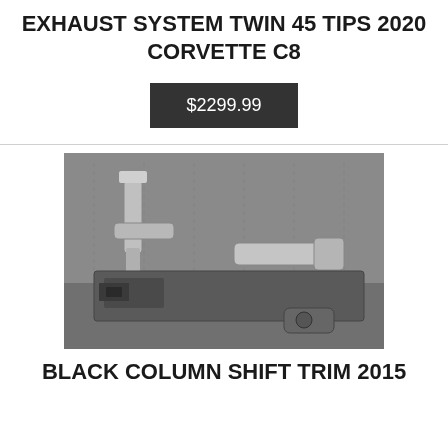EXHAUST SYSTEM TWIN 45 TIPS 2020 CORVETTE C8
$2299.99
[Figure (photo): Black and white photograph showing exhaust tips and rear bumper components of a Corvette C8, laid out on a floor.]
BLACK COLUMN SHIFT TRIM 2015